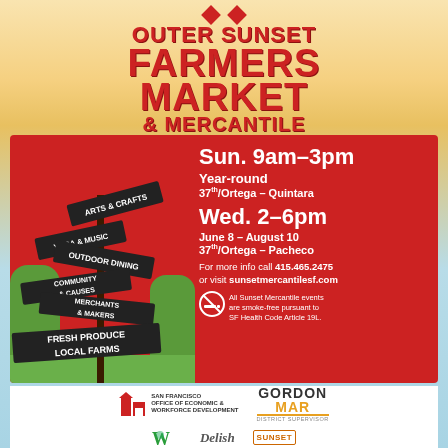OUTER SUNSET FARMERS MARKET & MERCANTILE
[Figure (infographic): Red background flyer with directional signpost showing: Arts & Crafts, Yoga & Music, Outdoor Dining, Community & Causes, Merchants & Makers, Fresh Produce Local Farms. Right side shows schedule info: Sun. 9am-3pm Year-round 37th/Ortega - Quintara; Wed. 2-6pm June 8 - August 10 37th/Ortega - Pacheco; contact info and no-smoking notice.]
Sun. 9am–3pm
Year-round
37th/Ortega – Quintara
Wed. 2–6pm
June 8 – August 10
37th/Ortega – Pacheco
For more info call 415.465.2475
or visit sunsetmercantilesf.com
All Sunset Mercantile events are smoke-free pursuant to SF Health Code Article 19L.
[Figure (logo): San Francisco Office of Economic & Workforce Development logo]
[Figure (logo): Gordon Mar District Supervisor logo]
[Figure (logo): Sponsor logos row 2]